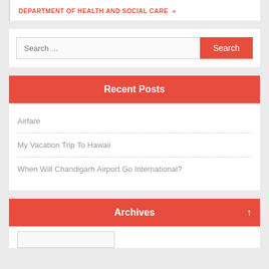DEPARTMENT OF HEALTH AND SOCIAL CARE »
Search ...
Recent Posts
Airfare
My Vacation Trip To Hawaii
When Will Chandigarh Airport Go International?
Archives